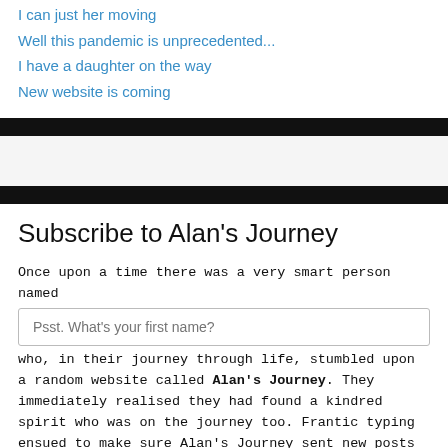I can just her moving
Well this pandemic is unprecedented...
I have a daughter on the way
New website is coming
Subscribe to Alan's Journey
Once upon a time there was a very smart person named
who, in their journey through life, stumbled upon a random website called Alan's Journey. They immediately realised they had found a kindred spirit who was on the journey too. Frantic typing ensued to make sure Alan's Journey sent new posts to their